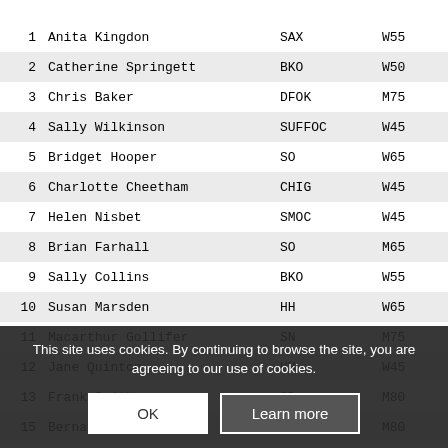| # | Name | Club | Category |
| --- | --- | --- | --- |
| 1 | Anita Kingdon | SAX | W55 |
| 2 | Catherine Springett | BKO | W50 |
| 3 | Chris Baker | DFOK | M75 |
| 4 | Sally Wilkinson | SUFFOC | W45 |
| 5 | Bridget Hooper | SO | W65 |
| 6 | Charlotte Cheetham | CHIG | W45 |
| 7 | Helen Nisbet | SMOC | W45 |
| 8 | Brian Farhall | SO | M65 |
| 9 | Sally Collins | BKO | W55 |
| 10 | Susan Marsden | HH | W65 |
| 11 | Macarthur Gollifer | SN | M75 |
| 12 | Jane Quinton | HH | W45 |
| 13 | Frank Smith | OD | M80 |
| 15 | Berna... |  | M80 |
| 16 | Anthon... | SAX | M70 |
| 17 | Jeffrey... |  | M70 |
This site uses cookies. By continuing to browse the site, you are agreeing to our use of cookies.